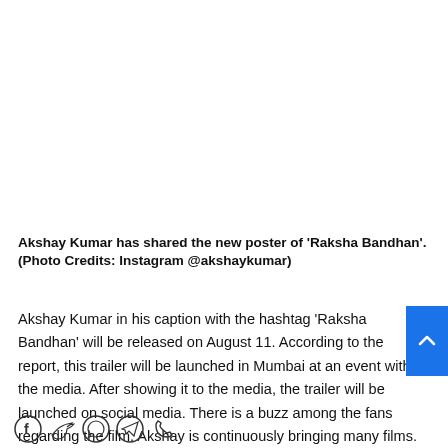[Figure (photo): Empty white space where an image of Akshay Kumar's Raksha Bandhan poster would appear]
Akshay Kumar has shared the new poster of 'Raksha Bandhan'. (Photo Credits: Instagram @akshaykumar)
Akshay Kumar in his caption with the hashtag 'Raksha Bandhan' will be released on August 11. According to the report, this trailer will be launched in Mumbai at an event with the media. After showing it to the media, the trailer will be launched on social media. There is a buzz among the fans regarding the film. Akshay is continuously bringing many films.